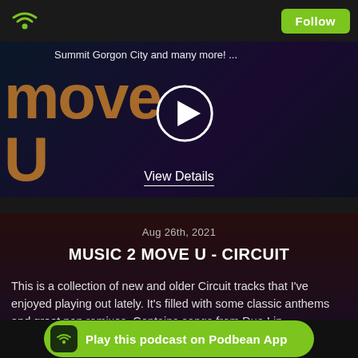[Figure (screenshot): Podbean podcast app UI screenshot showing a music podcast page for 'Music 2 Move U - Circuit']
Summit Gorgon City and many more!  ...
View Details
Aug 26th, 2021
MUSIC 2 MOVE U - CIRCUIT
This is a collection of new and older Circuit tracks that I've enjoyed playing out lately. It's filled with some classic anthems and great pop remixes. Contains songs from Dua Lip...
Play this podcast on Podbean App